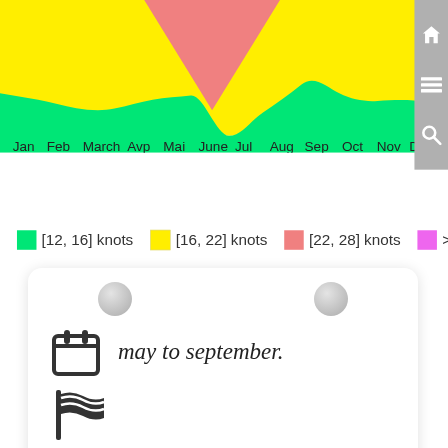[Figure (area-chart): Wind speed by month]
[12, 16] knots   [16, 22] knots   [22, 28] knots   > 28 knots
may to september.
choppy water, small to medium waves. / sideshore wind, stronger in the afternoon. / wetsuit needed in winter, shorty in summer.